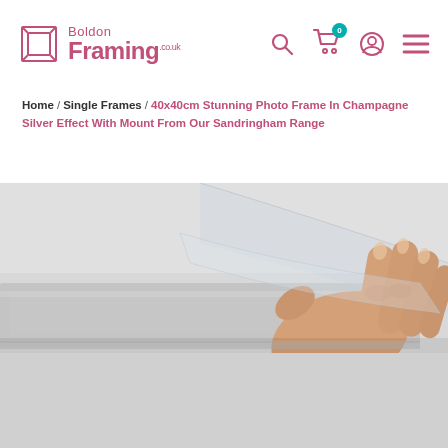Boldon Framing .co.uk — navigation header with search, cart (0), account, and menu icons
Home / Single Frames / 40x40cm Stunning Photo Frame In Champagne Silver Effect With Mount From Our Sandringham Range
[Figure (photo): A hand holding a clear photo frame or acrylic sheet, with a silver/grey photo frame visible beneath on a white background.]